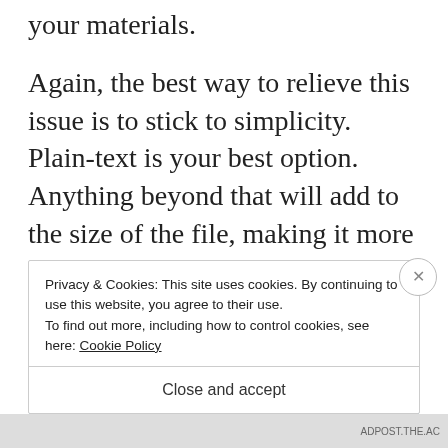your materials.
Again, the best way to relieve this issue is to stick to simplicity. Plain-text is your best option. Anything beyond that will add to the size of the file, making it more difficult to download.
[Figure (illustration): Partial view of a cartoon character on a blue background with a pink shape and a yellow diamond/star sparkle]
Privacy & Cookies: This site uses cookies. By continuing to use this website, you agree to their use.
To find out more, including how to control cookies, see here: Cookie Policy
Close and accept